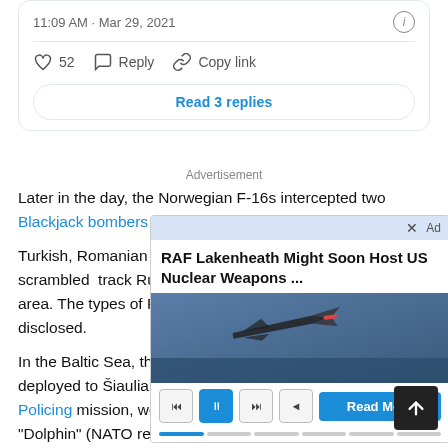11:09 AM · Mar 29, 2021
52  Reply  Copy link
Read 3 replies
Advertisement
Later in the day, the Norwegian F-16s intercepted two Blackjack bombers
Turkish, Romanian and scrambled track Russian aircraft area. The types of Russian aircraft disclosed.
[Figure (screenshot): Advertisement overlay: RAF Lakenheath Might Soon Host US Nuclear Weapons ... with image of F-35 jet and media player controls and Read More button]
In the Baltic Sea, the Italian Air Force Eurofighter Typhoons deployed to Šiauliai, Lithunia, to support NATO Baltic Air Policing mission, were launched to identify a Russian Il- "Dolphin" (NATO reporting name "May") ASW (Anti-Submarine Warfare) aircraft which was escorted by the F-2000s over the